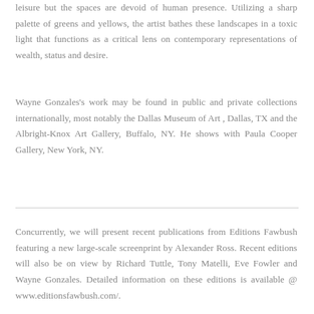leisure but the spaces are devoid of human presence. Utilizing a sharp palette of greens and yellows, the artist bathes these landscapes in a toxic light that functions as a critical lens on contemporary representations of wealth, status and desire.
Wayne Gonzales's work may be found in public and private collections internationally, most notably the Dallas Museum of Art , Dallas, TX and the Albright-Knox Art Gallery, Buffalo, NY. He shows with Paula Cooper Gallery, New York, NY.
Concurrently,  we will present recent publications from Editions Fawbush featuring a new large-scale screenprint by Alexander Ross. Recent editions will also be on view by Richard Tuttle, Tony Matelli, Eve Fowler and Wayne Gonzales. Detailed information on these editions is available @ www.editionsfawbush.com/.